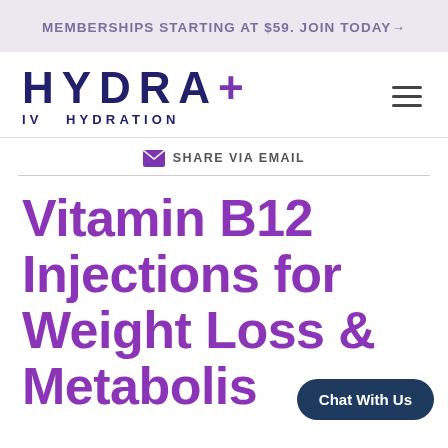MEMBERSHIPS STARTING AT $59. JOIN TODAY →
[Figure (logo): HYDRA+ IV HYDRATION logo with dark blue text and purple plus sign, with hamburger menu icon on the right]
✉ SHARE VIA EMAIL
Vitamin B12 Injections for Weight Loss & Metabolism Do they
Chat With Us